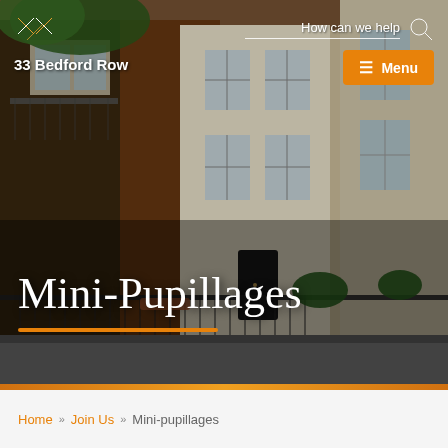[Figure (photo): Website screenshot showing 33 Bedford Row barristers chambers. Hero image of a Georgian townhouse building facade in London with iron railings and flower boxes. Navigation bar at top with logo, search field, and orange menu button.]
33 Bedford Row
Mini-Pupillages
Home » Join Us » Mini-pupillages